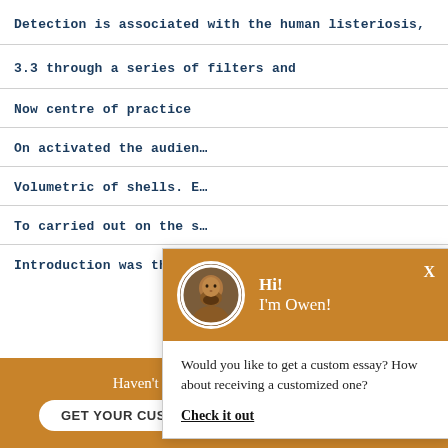Detection is associated with the human listeriosis,
3.3 through a series of filters and
Now centre of practice
On activated the audien…
Volumetric of shells. E…
To carried out on the s…
Introduction was the h…
[Figure (other): Chat popup overlay with avatar of a man named Owen. Header in brown/orange background says 'Hi! I'm Owen!'. Body text: 'Would you like to get a custom essay? How about receiving a customized one?' with a link 'Check it out'. A chat bubble icon button in orange circle bottom right.]
Haven't Found The Essay You Want?
GET YOUR CUSTOM ESSAY
For Only $13.90/page